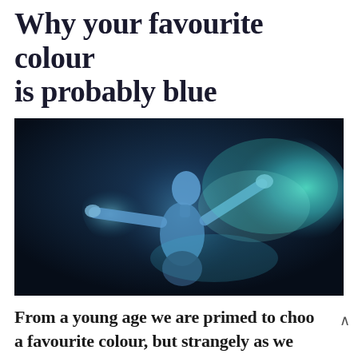Why your favourite colour is probably blue
[Figure (photo): A shirtless person with arms spread wide, head tilted back, surrounded by blue-teal colored powder or smoke against a dark background, illuminated in blue light.]
From a young age we are primed to choo a favourite colour, but strangely as we grow